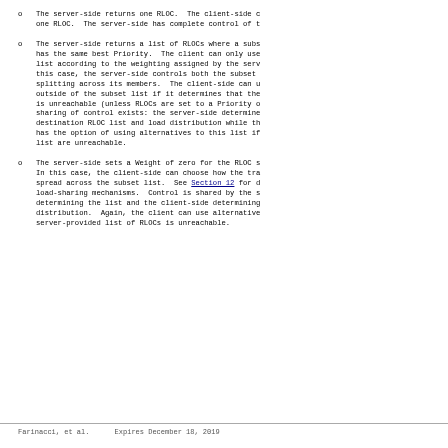The server-side returns one RLOC.  The client-side c one RLOC.  The server-side has complete control of t
The server-side returns a list of RLOCs where a subs has the same best Priority.  The client can only use list according to the weighting assigned by the serv this case, the server-side controls both the subset splitting across its members.  The client-side can u outside of the subset list if it determines that the is unreachable (unless RLOCs are set to a Priority o sharing of control exists: the server-side determine destination RLOC list and load distribution while th has the option of using alternatives to this list if list are unreachable.
The server-side sets a Weight of zero for the RLOC s In this case, the client-side can choose how the tra spread across the subset list.  See Section 12 for d load-sharing mechanisms.  Control is shared by the s determining the list and the client-side determining distribution.  Again, the client can use alternative server-provided list of RLOCs is unreachable.
Farinacci, et al.      Expires December 18, 2019